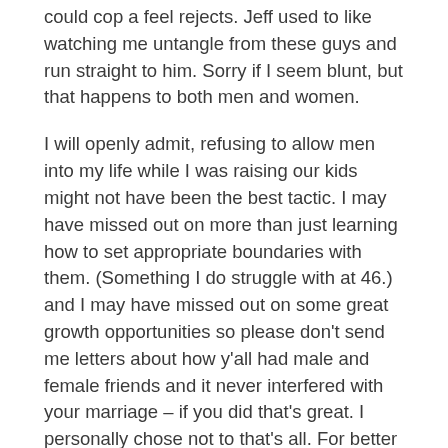could cop a feel rejects. Jeff used to like watching me untangle from these guys and run straight to him. Sorry if I seem blunt, but that happens to both men and women.
I will openly admit, refusing to allow men into my life while I was raising our kids might not have been the best tactic. I may have missed out on more than just learning how to set appropriate boundaries with them. (Something I do struggle with at 46.) and I may have missed out on some great growth opportunities so please don't send me letters about how y'all had male and female friends and it never interfered with your marriage – if you did that's great. I personally chose not to that's all. For better or for worse, I can't change that. The male friends I do have are friends we have together and they are great friends.